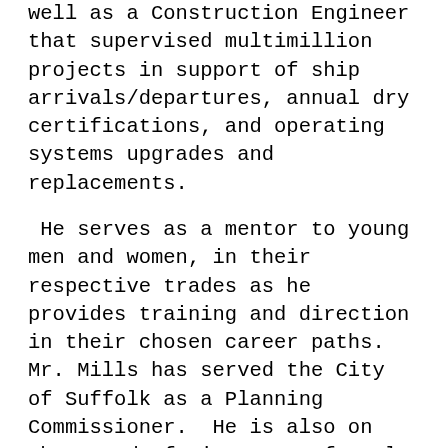well as a Construction Engineer that supervised multimillion projects in support of ship arrivals/departures, annual dry certifications, and operating systems upgrades and replacements.
He serves as a mentor to young men and women, in their respective trades as he provides training and direction in their chosen career paths. Mr. Mills has served the City of Suffolk as a Planning Commissioner.  He is also on the Board of Directors of Paul D. Camp Community College and supports the efforts to expand their training programs and facilities into the downtown Suffolk community. He is a strong advocate for Job Corps and the local Work Force Development Programs.